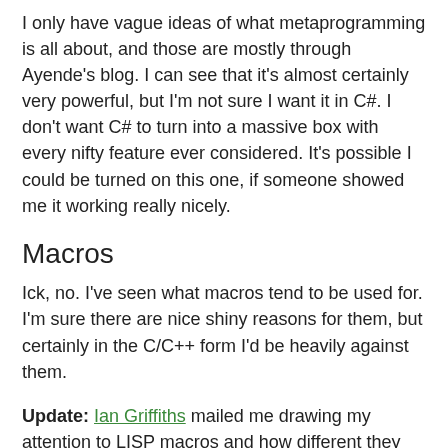I only have vague ideas of what metaprogramming is all about, and those are mostly through Ayende's blog. I can see that it's almost certainly very powerful, but I'm not sure I want it in C#. I don't want C# to turn into a massive box with every nifty feature ever considered. It's possible I could be turned on this one, if someone showed me it working really nicely.
Macros
Ick, no. I've seen what macros tend to be used for. I'm sure there are nice shiny reasons for them, but certainly in the C/C++ form I'd be heavily against them.
Update: Ian Griffiths mailed me drawing my attention to LISP macros and how different they are to C/C++ macros. The way Ian described it sounds similar to what I understand of the metaprogramming that Ayende wants